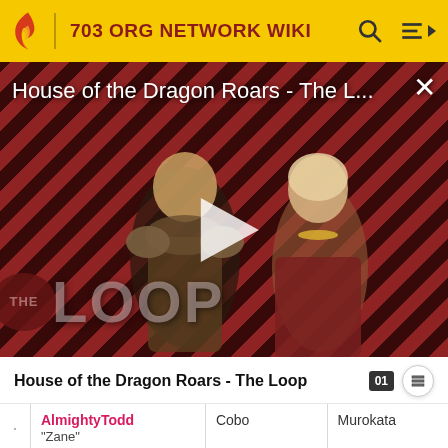703 ORG NETWORK WIKI
[Figure (screenshot): Video thumbnail for 'House of the Dragon Roars - The L...' showing two characters from the show against a diagonal red and dark stripe background with THE LOOP logo and a play button. A close (X) button is in the top right.]
House of the Dragon Roars - The Loop
|  | Username | Col3 | Col4 |
| --- | --- | --- | --- |
| · | AlmightyTodd "Zane" | Cobo | Murokata |
| · | soulscriptxd | Murokata | Murokata |